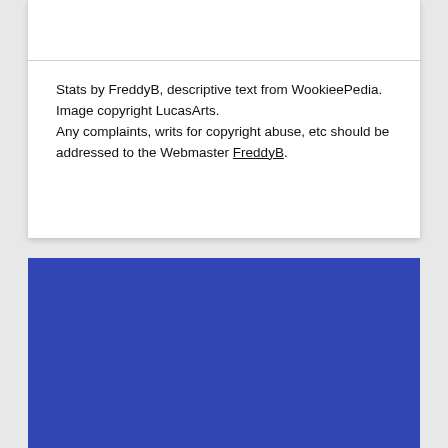Stats by FreddyB, descriptive text from WookieePedia.
Image copyright LucasArts.
Any complaints, writs for copyright abuse, etc should be addressed to the Webmaster FreddyB.
[Figure (other): Blue rectangular background section at the bottom of the page]